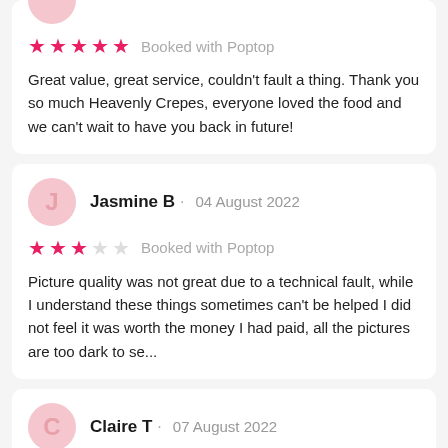[Figure (other): Partial top of a reviewer avatar circle (pink/rose background)]
★★★★★  Booked with Poptop
Great value, great service, couldn't fault a thing. Thank you so much Heavenly Crepes, everyone loved the food and we can't wait to have you back in future!
Jasmine B  •  04 August 2022
★★★☆☆  Booked with Poptop
Picture quality was not great due to a technical fault, while I understand these things sometimes can't be helped I did not feel it was worth the money I had paid, all the pictures are too dark to se...
Claire T  •  07 August 2022
★★★★★  Booked with Poptop